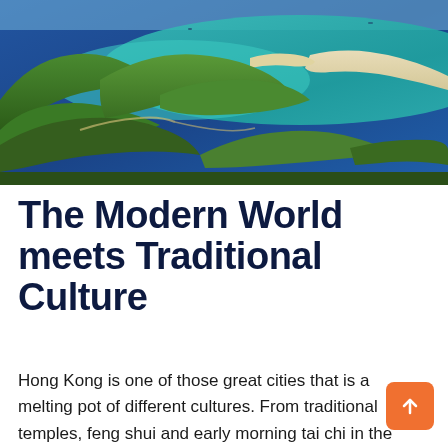[Figure (photo): Aerial photograph of a lush green coastal landscape with turquoise and deep blue ocean waters, white sandy beaches, and green rolling hills under a bright sky — likely Hong Kong countryside/coastline.]
The Modern World meets Traditional Culture
Hong Kong is one of those great cities that is a melting pot of different cultures. From traditional temples, feng shui and early morning tai chi in the parks to top western restaurants, ex pat workers and the latest technology. Hong Kong blends the old with the new seamlessly on nearly every street corner.